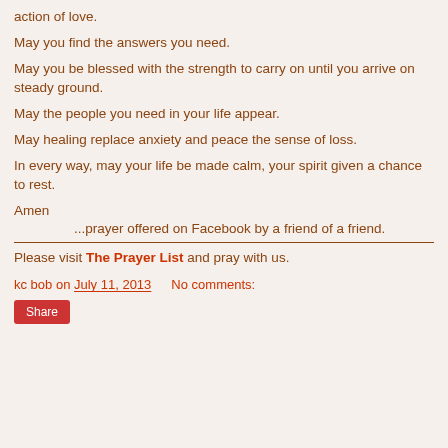action of love.
May you find the answers you need.
May you be blessed with the strength to carry on until you arrive on steady ground.
May the people you need in your life appear.
May healing replace anxiety and peace the sense of loss.
In every way, may your life be made calm, your spirit given a chance to rest.
Amen
...prayer offered on Facebook by a friend of a friend.
Please visit The Prayer List and pray with us.
kc bob on July 11, 2013   No comments:
Share